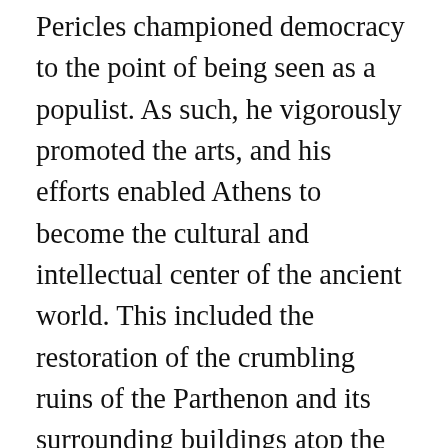Pericles championed democracy to the point of being seen as a populist. As such, he vigorously promoted the arts, and his efforts enabled Athens to become the cultural and intellectual center of the ancient world. This included the restoration of the crumbling ruins of the Parthenon and its surrounding buildings atop the Acropolis. This project beautified and protected the city and showcased its glory, while giving work to Athenians. Pericles fell victim to the Plague of Athens in 429 BC, which ended...